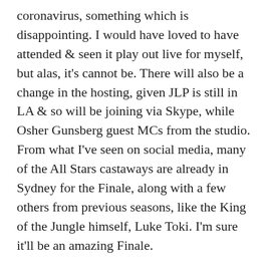coronavirus, something which is disappointing. I would have loved to have attended & seen it play out live for myself, but alas, it's cannot be. There will also be a change in the hosting, given JLP is still in LA & so will be joining via Skype, while Osher Gunsberg guest MCs from the studio. From what I've seen on social media, many of the All Stars castaways are already in Sydney for the Finale, along with a few others from previous seasons, like the King of the Jungle himself, Luke Toki. I'm sure it'll be an amazing Finale.
And that's it for another edition of Survivor Strategiser. As the final episodes are upon us, I'll be doing one of these for each episode next week,